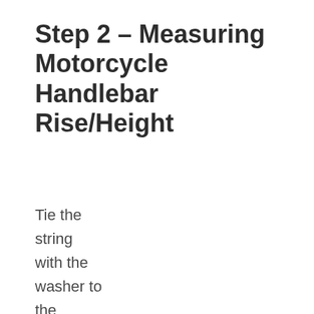Step 2 – Measuring Motorcycle Handlebar Rise/Height
Tie the string with the washer to the